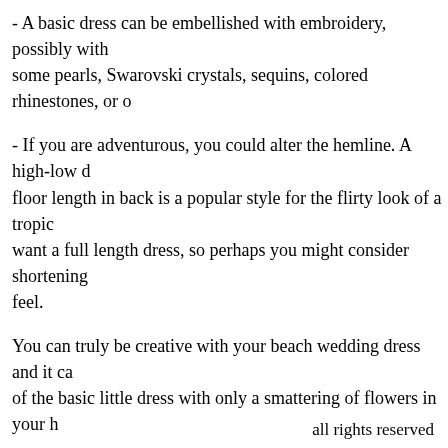- A basic dress can be embellished with embroidery, possibly with some pearls, Swarovski crystals, sequins, colored rhinestones, or o
- If you are adventurous, you could alter the hemline. A high-low floor length in back is a popular style for the flirty look of a tropic want a full length dress, so perhaps you might consider shortening feel.
You can truly be creative with your beach wedding dress and it ca of the basic little dress with only a smattering of flowers in your h
Remember, your dress should be a reflection of who you are and i marrying in. A beach wedding embraces a love of nature and this s
There are no rules for a casual beach wedding dress, so feel free t one, just for you.
long cotton dresses | black corset dress | cheap kne
all rights reserved